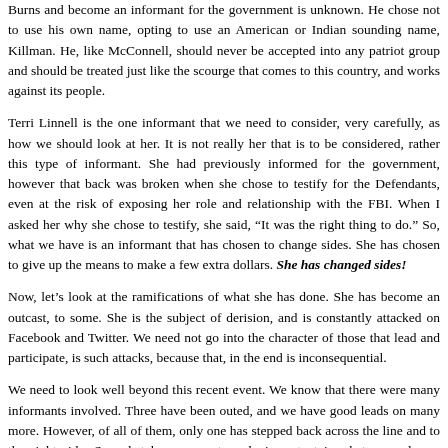Burns and become an informant for the government is unknown. He chose not to use his own name, opting to use an American or Indian sounding name, Killman. He, like McConnell, should never be accepted into any patriot group and should be treated just like the scourge that comes to this country, and works against its people.
Terri Linnell is the one informant that we need to consider, very carefully, as how we should look at her. It is not really her that is to be considered, rather this type of informant. She had previously informed for the government, however that back was broken when she chose to testify for the Defendants, even at the risk of exposing her role and relationship with the FBI. When I asked her why she chose to testify, she said, “It was the right thing to do.” So, what we have is an informant that has chosen to change sides. She has chosen to give up the means to make a few extra dollars. She has changed sides!
Now, let’s look at the ramifications of what she has done. She has become an outcast, to some. She is the subject of derision, and is constantly attacked on Facebook and Twitter. We need not go into the character of those that lead and participate, is such attacks, because that, in the end is inconsequential.
We need to look well beyond this recent event. We know that there were many informants involved. Three have been outed, and we have good leads on many more. However, of all of them, only one has stepped back across the line and to the right side. So, what becomes extremely important is what example we become for the next informant that has questioned their participation in informing against patriots. Do we offer them a comforting welcome? “Hi! Welcome. We…